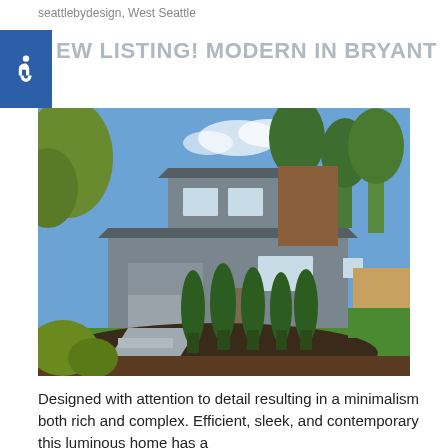seattlebydesign, West Seattle
NEW LISTING! MODERN IN BRYANT
[Figure (photo): Exterior photo of a modern two-story home with gray siding, a garage, tall arborvitae trees, manicured landscaping, and a blue sky with trees in the background.]
Designed with attention to detail resulting in a minimalism both rich and complex. Efficient, sleek, and contemporary this luminous home has a